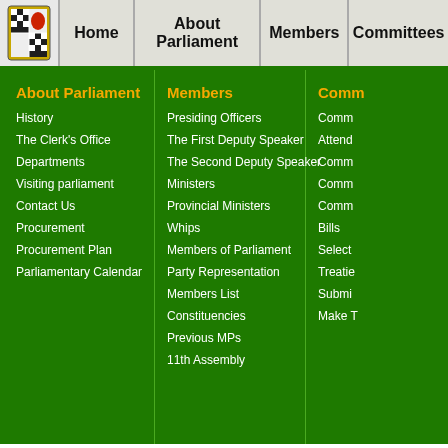Home | About Parliament | Members | Committees
About Parliament
History
The Clerk's Office
Departments
Visiting parliament
Contact Us
Procurement
Procurement Plan
Parliamentary Calendar
Members
Presiding Officers
The First Deputy Speaker
The Second Deputy Speaker
Ministers
Provincial Ministers
Whips
Members of Parliament
Party Representation
Members List
Constituencies
Previous MPs
11th Assembly
Comm
Comm
Attend
Comm
Comm
Comm
Bills
Select
Treatie
Submi
Make T